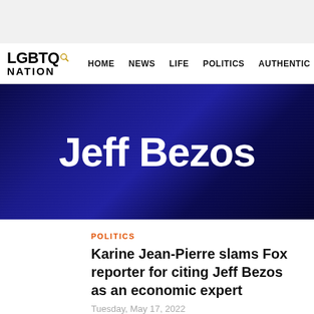LGBTQ NATION | HOME  NEWS  LIFE  POLITICS  AUTHENTIC
[Figure (screenshot): LGBTQ Nation website header banner with large white text 'Jeff Bezos' on a dark navy blue gradient background]
POLITICS
Karine Jean-Pierre slams Fox reporter for citing Jeff Bezos as an economic expert
Tuesday, May 17, 2022